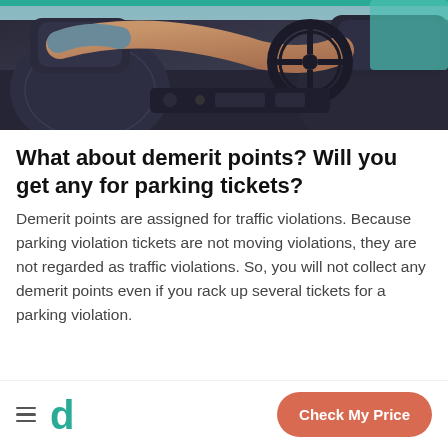[Figure (photo): Photo of a person driving a car, arm extended toward steering wheel, dark leather interior visible]
What about demerit points? Will you get any for parking tickets?
Demerit points are assigned for traffic violations. Because parking violation tickets are not moving violations, they are not regarded as traffic violations. So, you will not collect any demerit points even if you rack up several tickets for a parking violation.
Check My Price